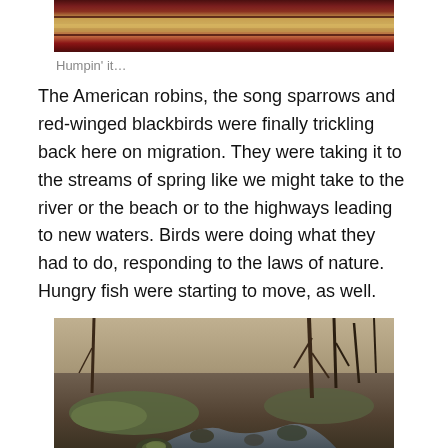[Figure (photo): Close-up photo of a dark red and tan striped object (appears to be a fishing rod or similar sporting equipment) viewed from above on a light background.]
Humpin' it…
The American robins, the song sparrows and red-winged blackbirds were finally trickling back here on migration. They were taking it to the streams of spring like we might take to the river or the beach or to the highways leading to new waters. Birds were doing what they had to do, responding to the laws of nature. Hungry fish were starting to move, as well.
[Figure (photo): Photograph of a small woodland stream with mossy rocks and bare winter trees along the banks. The stream flows over and around stones, with brown leaf litter and grasses visible on the stream banks.]